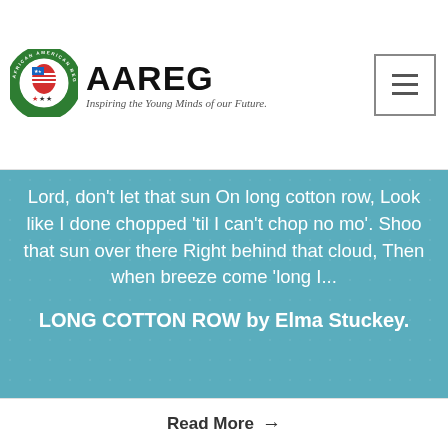[Figure (logo): African American Registry (AAREG) logo with Africa continent icon featuring US flag colors and stars, circular badge design]
AAREG — Inspiring the Young Minds of our Future.
Lord, don't let that sun On long cotton row, Look like I done chopped 'til I can't chop no mo'. Shoo that sun over there Right behind that cloud, Then when breeze come 'long I...
LONG COTTON ROW by Elma Stuckey.
Read More →